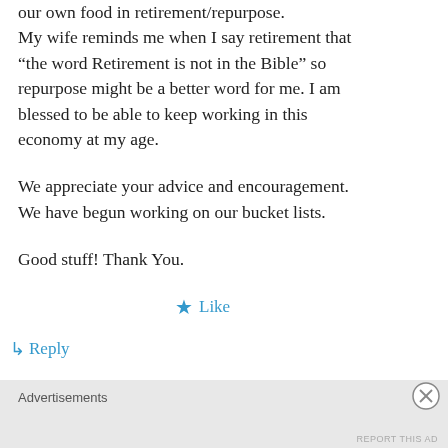our own food in retirement/repurpose. My wife reminds me when I say retirement that “the word Retirement is not in the Bible” so repurpose might be a better word for me. I am blessed to be able to keep working in this economy at my age.
We appreciate your advice and encouragement. We have begun working on our bucket lists.
Good stuff! Thank You.
★ Like
↳ Reply
Advertisements
REPORT THIS AD